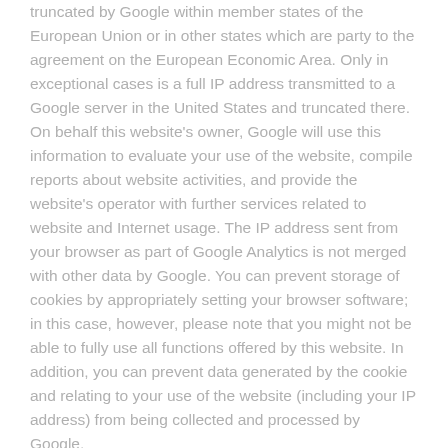truncated by Google within member states of the European Union or in other states which are party to the agreement on the European Economic Area. Only in exceptional cases is a full IP address transmitted to a Google server in the United States and truncated there. On behalf this website's owner, Google will use this information to evaluate your use of the website, compile reports about website activities, and provide the website's operator with further services related to website and Internet usage. The IP address sent from your browser as part of Google Analytics is not merged with other data by Google. You can prevent storage of cookies by appropriately setting your browser software; in this case, however, please note that you might not be able to fully use all functions offered by this website. In addition, you can prevent data generated by the cookie and relating to your use of the website (including your IP address) from being collected and processed by Google,